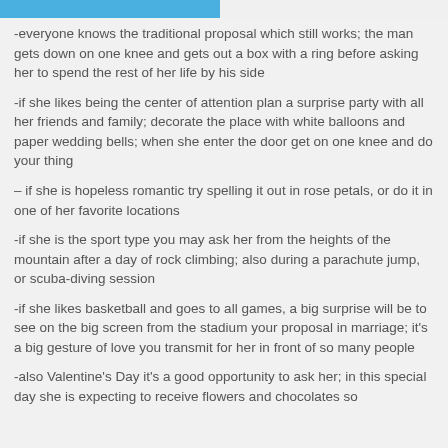-everyone knows the traditional proposal which still works; the man gets down on one knee and gets out a box with a ring before asking her to spend the rest of her life by his side
-if she likes being the center of attention plan a surprise party with all her friends and family; decorate the place with white balloons and paper wedding bells; when she enter the door get on one knee and do your thing
– if she is hopeless romantic try spelling it out in rose petals, or do it in one of her favorite locations
-if she is the sport type you may ask her from the heights of the mountain after a day of rock climbing; also during a parachute jump, or scuba-diving session
-if she likes basketball and goes to all games, a big surprise will be to see on the big screen from the stadium your proposal in marriage; it's a big gesture of love you transmit for her in front of so many people
-also Valentine's Day it's a good opportunity to ask her; in this special day she is expecting to receive flowers and chocolates so